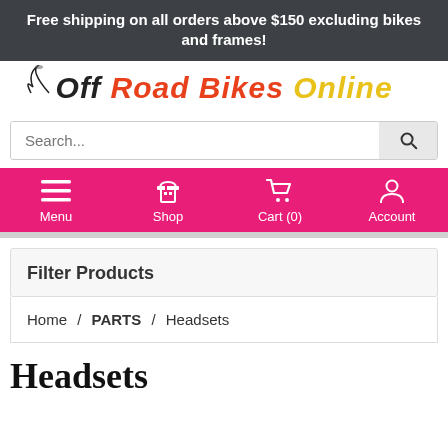Free shipping on all orders above $150 excluding bikes and frames!
[Figure (logo): Off Road Bikes Online logo with stylized text in black, red, and orange/yellow italic font with a swirl graphic]
Search...
Menu  Shop  Cart (0)  Account
Filter Products
Home / PARTS / Headsets
Headsets